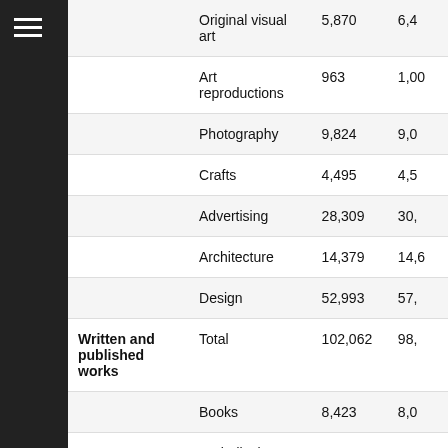| Category | Subcategory | Value 1 | Value 2 |
| --- | --- | --- | --- |
|  | Original visual art | 5,870 | 6,4… |
|  | Art reproductions | 963 | 1,00… |
|  | Photography | 9,824 | 9,0… |
|  | Crafts | 4,495 | 4,5… |
|  | Advertising | 28,309 | 30,… |
|  | Architecture | 14,379 | 14,6… |
|  | Design | 52,993 | 57,… |
| Written and published works | Total | 102,062 | 98,… |
|  | Books | 8,423 | 8,0… |
|  | Periodicals | 10,539 | 9,6… |